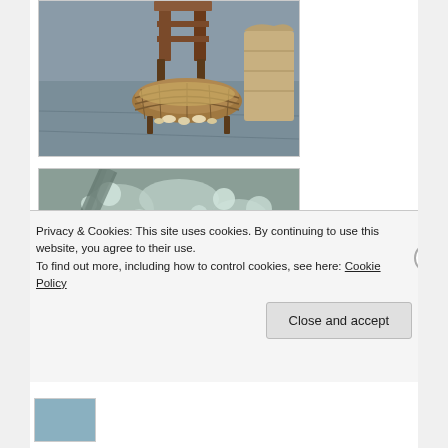[Figure (photo): Photo of a wooden chair or furniture piece with a woven basket/cradle at its base, on a concrete floor with burlap sack in background]
[Figure (photo): Close-up photo of a textured surface with white bubbly or foamy material, possibly styrofoam or a painted/treated surface]
Privacy & Cookies: This site uses cookies. By continuing to use this website, you agree to their use.
To find out more, including how to control cookies, see here: Cookie Policy